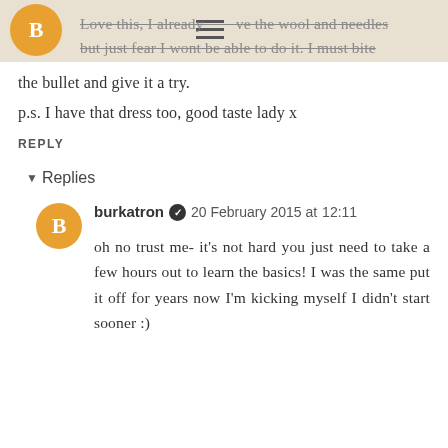Love this, I already have the wool and needles but just fear I wont be able to do it. I must bite the bullet and give it a try.
p.s. I have that dress too, good taste lady x
REPLY
▾ Replies
burkatron ✔ 20 February 2015 at 12:11
oh no trust me- it's not hard you just need to take a few hours out to learn the basics! I was the same put it off for years now I'm kicking myself I didn't start sooner :)